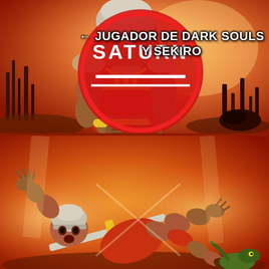[Figure (illustration): Two-panel meme using cartoon animation frames. Top panel: a large muscular armored knight/warrior in red and gold armor gripping a sword hilt with both hands, looking stern and confident, set against a fiery hellish orange-red background. Text label reads '← JUGADOR DE DARK SOULS Y SEKIRO'. A circular watermark logo reading 'SATURN' appears top-left. Bottom panel: a smaller figure in similar red/gold outfit is thrown/slammed to the ground, sprawled with arms outstretched, looking terrified, against the same fiery background.]
← JUGADOR DE DARK SOULS Y SEKIRO